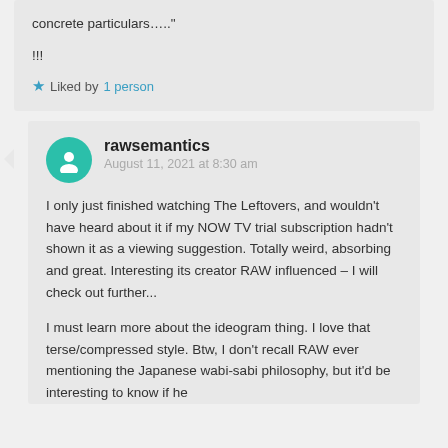concrete particulars….."
!!!
Liked by 1 person
rawsemantics
August 11, 2021 at 8:30 am
I only just finished watching The Leftovers, and wouldn't have heard about it if my NOW TV trial subscription hadn't shown it as a viewing suggestion. Totally weird, absorbing and great. Interesting its creator RAW influenced – I will check out further...
I must learn more about the ideogram thing. I love that terse/compressed style. Btw, I don't recall RAW ever mentioning the Japanese wabi-sabi philosophy, but it'd be interesting to know if he